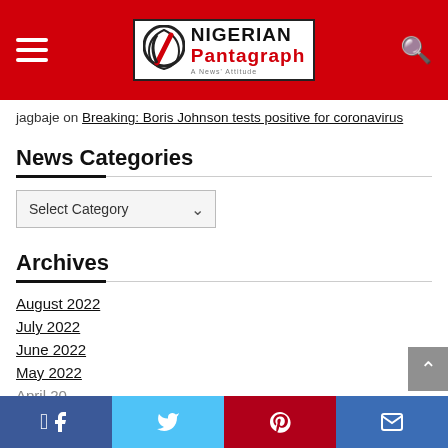Nigerian Pantagraph - A News Attitude
jagbaje on Breaking: Boris Johnson tests positive for coronavirus
News Categories
Select Category
Archives
August 2022
July 2022
June 2022
May 2022
Facebook | Twitter | Pinterest | Email